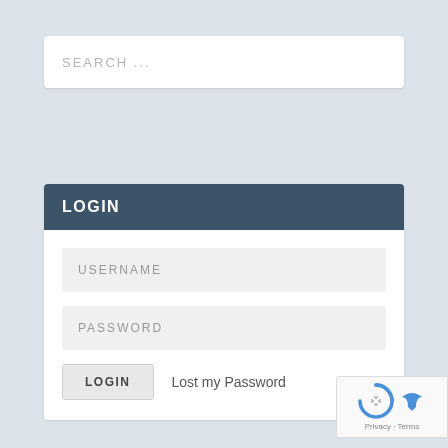SEARCH ...
LOGIN
USERNAME
PASSWORD
LOGIN
Lost my Password
FOLLOW US
FACEBOOK